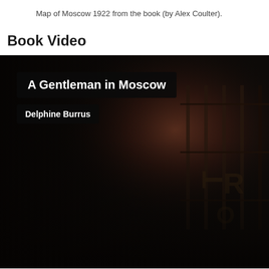Map of Moscow 1922 from the book (by Alex Coulter).
Book Video
[Figure (screenshot): Video thumbnail showing a dark, moody image of what appears to be bookshelves or a library interior with dim reddish-brown lighting. Overlaid text boxes show the title 'A Gentleman in Moscow' and author 'Delphine Burrus' in white bold text on dark semi-transparent backgrounds.]